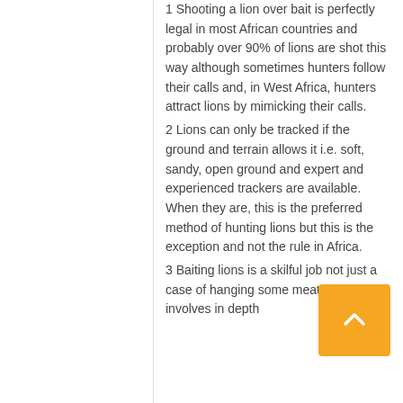1 Shooting a lion over bait is perfectly legal in most African countries and probably over 90% of lions are shot this way although sometimes hunters follow their calls and, in West Africa, hunters attract lions by mimicking their calls.
2 Lions can only be tracked if the ground and terrain allows it i.e. soft, sandy, open ground and expert and experienced trackers are available. When they are, this is the preferred method of hunting lions but this is the exception and not the rule in Africa.
3 Baiting lions is a skilful job not just a case of hanging some meat in a tree. It involves in depth